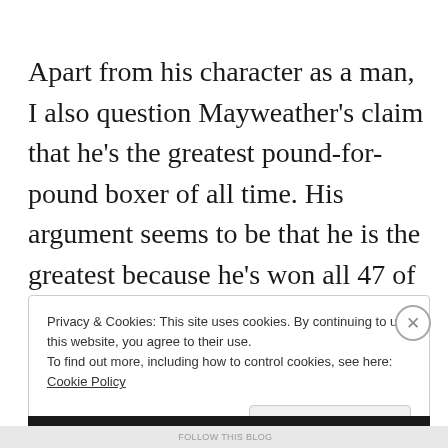Apart from his character as a man, I also question Mayweather's claim that he's the greatest pound-for-pound boxer of all time. His argument seems to be that he is the greatest because he's won all 47 of his professional fights.
Privacy & Cookies: This site uses cookies. By continuing to use this website, you agree to their use.
To find out more, including how to control cookies, see here: Cookie Policy